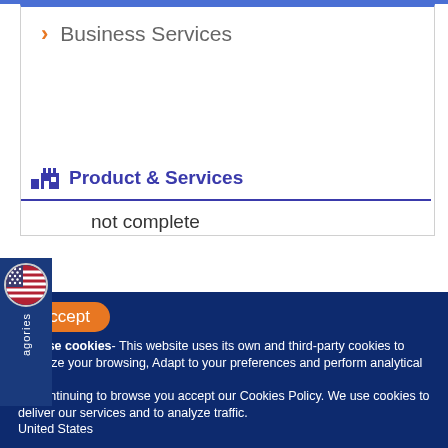> Business Services
Product & Services
not complete
Accept
We use cookies- This website uses its own and third-party cookies to optimize your browsing, Adapt to your preferences and perform analytical tasks.
By continuing to browse you accept our Cookies Policy. We use cookies to deliver our services and to analyze traffic.
United States